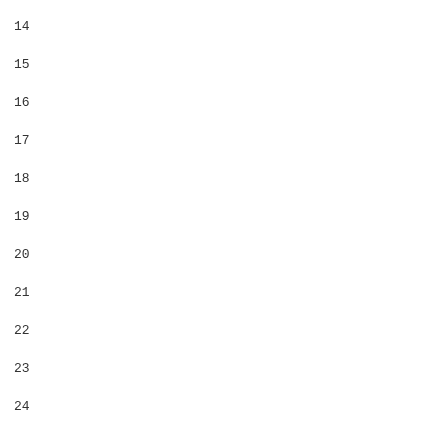14
15
16
17
18
19
20
21
22
23
24